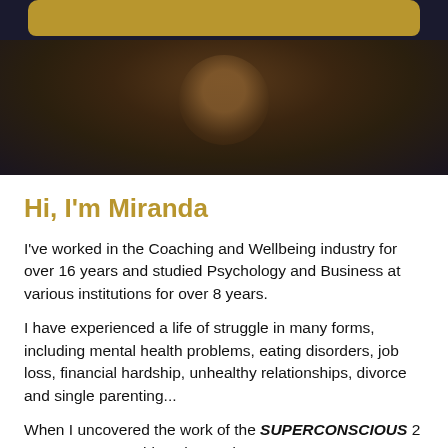[Figure (photo): Dark background hero image with a golden/amber rounded rectangle element at the top and blurred portrait figure in the center]
Hi, I'm Miranda
I've worked in the Coaching and Wellbeing industry for over 16 years and studied Psychology and Business at various institutions for over 8 years.
I have experienced a life of struggle in many forms, including mental health problems, eating disorders, job loss, financial hardship, unhealthy relationships, divorce and single parenting...
When I uncovered the work of the SUPERCONSCIOUS 2 years ago, everything changed.
It enabled me to build my (struggling)